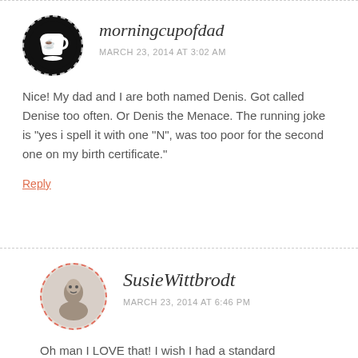[Figure (illustration): Black circular avatar with a coffee mug silhouette in white, dashed border]
morningcupofdad
MARCH 23, 2014 AT 3:02 AM
Nice! My dad and I are both named Denis. Got called Denise too often. Or Denis the Menace. The running joke is "yes i spell it with one "N", was too poor for the second one on my birth certificate."
Reply
[Figure (photo): Circular avatar with dashed red/pink border showing a grayscale photo of a woman sitting]
SusieWittbrodt
MARCH 23, 2014 AT 6:46 PM
Oh man I LOVE that! I wish I had a standard